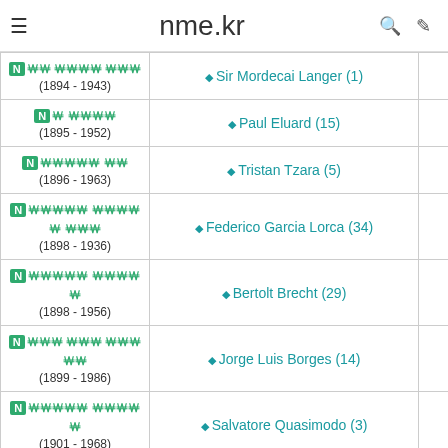nme.kr
| Name | Link |  |
| --- | --- | --- |
| (1894 - 1943) | Sir Mordecai Langer (1) |  |
| (1895 - 1952) | Paul Eluard (15) |  |
| (1896 - 1963) | Tristan Tzara (5) |  |
| (1898 - 1936) | Federico Garcia Lorca (34) |  |
| (1898 - 1956) | Bertolt Brecht (29) |  |
| (1899 - 1986) | Jorge Luis Borges (14) |  |
| (1901 - 1968) | Salvatore Quasimodo (3) |  |
| (1901 - 1963) | Nazim Hikmet (21) |  |
| (1904 - 1973) | Pablo Neruda (45) |  |